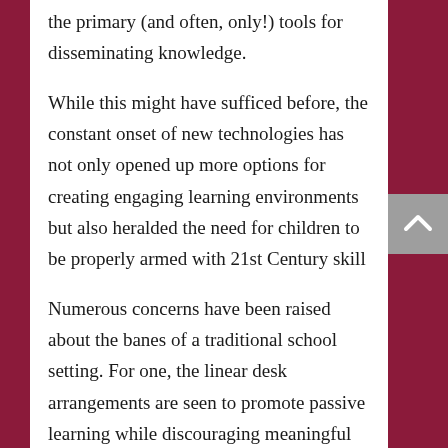the primary (and often, only!) tools for disseminating knowledge.
While this might have sufficed before, the constant onset of new technologies has not only opened up more options for creating engaging learning environments but also heralded the need for children to be properly armed with 21st Century skill
Numerous concerns have been raised about the banes of a traditional school setting. For one, the linear desk arrangements are seen to promote passive learning while discouraging meaningful interactions